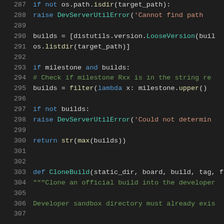[Figure (screenshot): Source code screenshot showing Python code lines 287-307 with syntax highlighting on dark background. Keywords in blue, strings in orange/red, comments in green, function names in teal.]